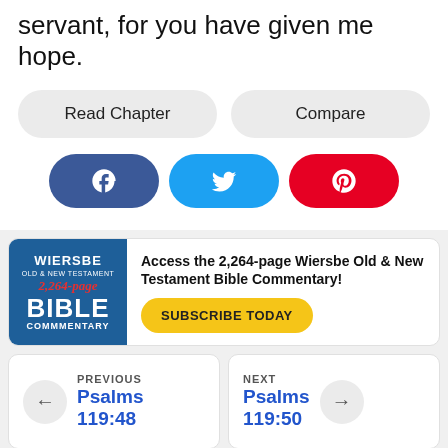servant, for you have given me hope.
Read Chapter
Compare
[Figure (infographic): Social share buttons: Facebook (blue), Twitter (light blue), Pinterest (red)]
[Figure (infographic): Wiersbe Old & New Testament Bible Commentary advertisement with subscribe button]
Access the 2,264-page Wiersbe Old & New Testament Bible Commentary!
SUBSCRIBE TODAY
PREVIOUS
Psalms
119:48
NEXT
Psalms
119:50